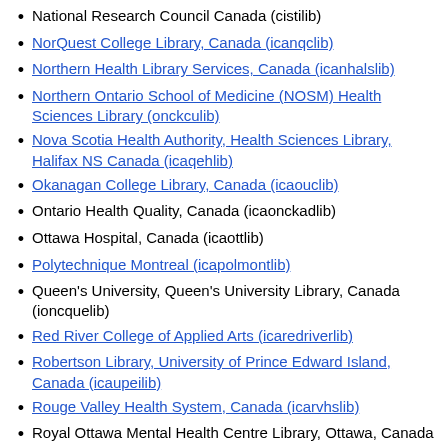National Research Council Canada (cistilib)
NorQuest College Library, Canada (icanqclib)
Northern Health Library Services, Canada (icanhalslib)
Northern Ontario School of Medicine (NOSM) Health Sciences Library (onckculib)
Nova Scotia Health Authority, Health Sciences Library, Halifax NS Canada (icaqehlib)
Okanagan College Library, Canada (icaouclib)
Ontario Health Quality, Canada (icaonckadlib)
Ottawa Hospital, Canada (icaottlib)
Polytechnique Montreal (icapolmontlib)
Queen's University, Queen's University Library, Canada (ioncquelib)
Red River College of Applied Arts (icaredriverlib)
Robertson Library, University of Prince Edward Island, Canada (icaupeilib)
Rouge Valley Health System, Canada (icarvhslib)
Royal Ottawa Mental Health Centre Library, Ottawa, Canada (onclyolib)
Saint Mary's University, Patrick Power Library, Canada (icasmupplib)
Sanofi Canada (icaavphlib)
Saskatchewan Health Authority Library (icareglib)
Sault Area Hospital Health Sciences Library, ON, Canada (icasahlib)